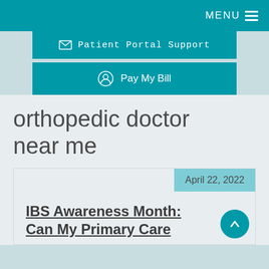MENU
Patient Portal Support
Pay My Bill
orthopedic doctor near me
April 22, 2022
IBS Awareness Month: Can My Primary Care